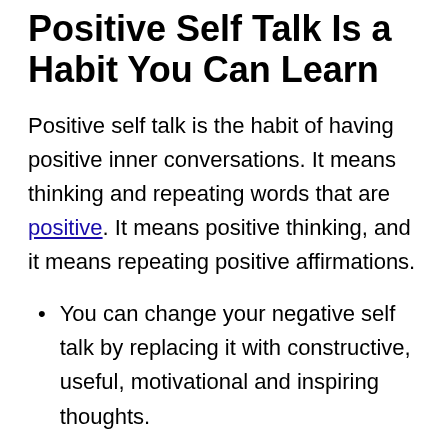Positive Self Talk Is a Habit You Can Learn
Positive self talk is the habit of having positive inner conversations. It means thinking and repeating words that are positive. It means positive thinking, and it means repeating positive affirmations.
You can change your negative self talk by replacing it with constructive, useful, motivational and inspiring thoughts.
You can choose better, happier thoughts to run in your mind, which will encourage and